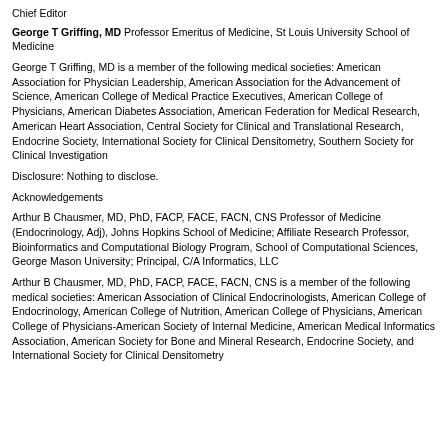Chief Editor
George T Griffing, MD Professor Emeritus of Medicine, St Louis University School of Medicine
George T Griffing, MD is a member of the following medical societies: American Association for Physician Leadership, American Association for the Advancement of Science, American College of Medical Practice Executives, American College of Physicians, American Diabetes Association, American Federation for Medical Research, American Heart Association, Central Society for Clinical and Translational Research, Endocrine Society, International Society for Clinical Densitometry, Southern Society for Clinical Investigation
Disclosure: Nothing to disclose.
Acknowledgements
Arthur B Chausmer, MD, PhD, FACP, FACE, FACN, CNS Professor of Medicine (Endocrinology, Adj), Johns Hopkins School of Medicine; Affiliate Research Professor, Bioinformatics and Computational Biology Program, School of Computational Sciences, George Mason University; Principal, C/A Informatics, LLC
Arthur B Chausmer, MD, PhD, FACP, FACE, FACN, CNS is a member of the following medical societies: American Association of Clinical Endocrinologists, American College of Endocrinology, American College of Nutrition, American College of Physicians, American College of Physicians-American Society of Internal Medicine, American Medical Informatics Association, American Society for Bone and Mineral Research, Endocrine Society, and International Society for Clinical Densitometry